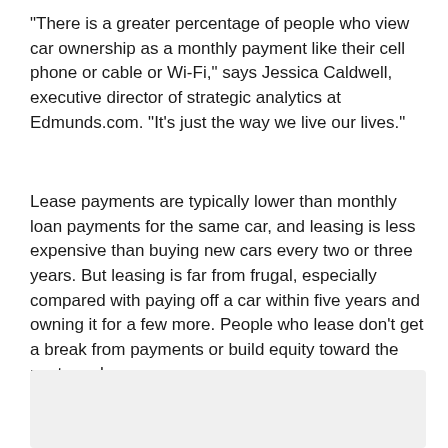"There is a greater percentage of people who view car ownership as a monthly payment like their cell phone or cable or Wi-Fi," says Jessica Caldwell, executive director of strategic analytics at Edmunds.com. "It's just the way we live our lives."
Lease payments are typically lower than monthly loan payments for the same car, and leasing is less expensive than buying new cars every two or three years. But leasing is far from frugal, especially compared with paying off a car within five years and owning it for a few more. People who lease don't get a break from payments or build equity toward the next purchase.